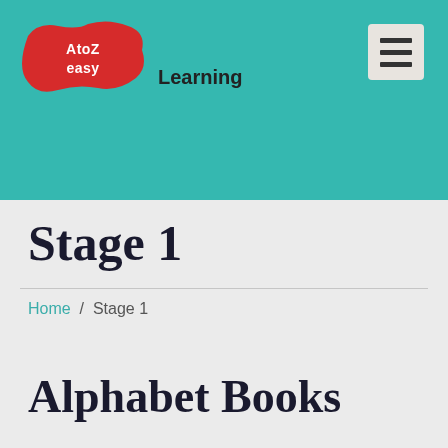[Figure (logo): AtoZeasy Learning logo — red wavy badge with white text 'AtoZeasy' and the word 'Learning' in black beside it, on a teal background with a hamburger menu icon in the top right]
Stage 1
Home / Stage 1
Alphabet Books